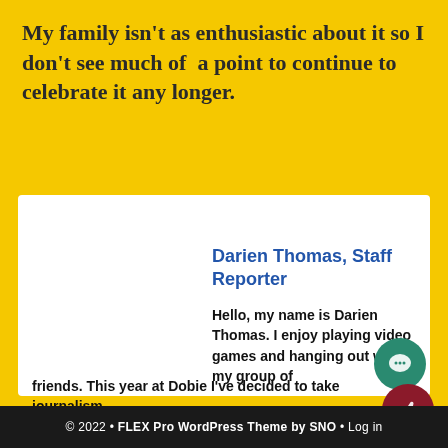My family isn't as enthusiastic about it so I don't see much of  a point to continue to celebrate it any longer.
[Figure (photo): Portrait photo of a young person wearing a black hoodie, standing in front of a brick wall]
Darien Thomas, Staff Reporter
Hello, my name is Darien Thomas. I enjoy playing video games and hanging out with my group of friends. This year at Dobie I've decided to take journalism...
© 2022 • FLEX Pro WordPress Theme by SNO • Log in